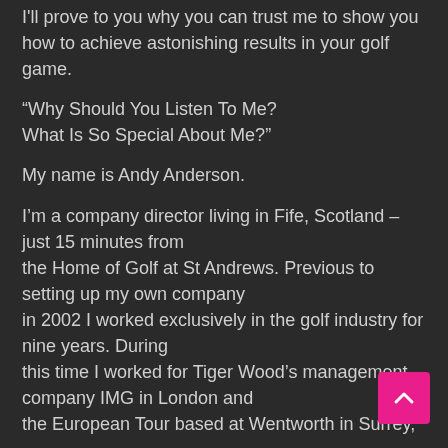I'll prove to you why you can trust me to show you how to achieve astonishing results in your golf game.
“Why Should You Listen To Me? What Is So Special About Me?”
My name is Andy Anderson.
I’m a company director living in Fife, Scotland – just 15 minutes from the Home of Golf at St Andrews. Previous to setting up my own company in 2002 I worked exclusively in the golf industry for nine years. During this time I worked for Tiger Wood’s management company IMG in London and the European Tour based at Wentworth in Surrey,